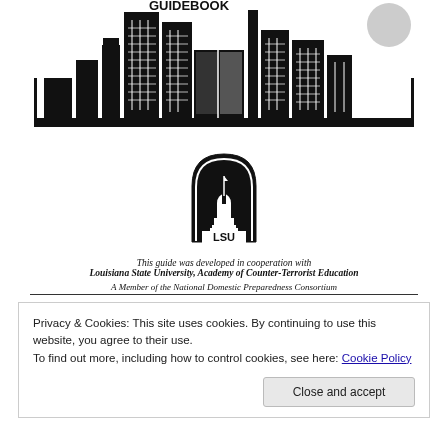[Figure (illustration): Black and white silhouette illustration of a city skyline with tall buildings and skyscrapers. The word GUIDEBOOK appears at the top.]
[Figure (logo): LSU logo: an arched black emblem with a tower/capitol building and the letters LSU below it.]
This guide was developed in cooperation with Louisiana State University, Academy of Counter-Terrorist Education A Member of the National Domestic Preparedness Consortium
Privacy & Cookies: This site uses cookies. By continuing to use this website, you agree to their use.
To find out more, including how to control cookies, see here: Cookie Policy